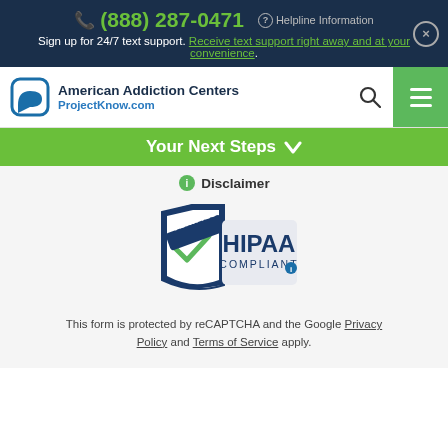(888) 287-0471  Helpline Information
Sign up for 24/7 text support. Receive text support right away and at your convenience.
[Figure (logo): American Addiction Centers ProjectKnow.com logo with speech bubble icon]
Your Next Steps
Disclaimer
[Figure (logo): HIPAA Verified Compliant badge with shield and checkmark]
This form is protected by reCAPTCHA and the Google Privacy Policy and Terms of Service apply.